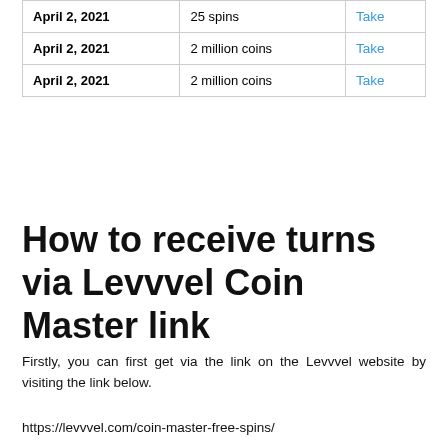| Date | Reward | Action |
| --- | --- | --- |
| April 2, 2021 | 25 spins | Take |
| April 2, 2021 | 2 million coins | Take |
| April 2, 2021 | 2 million coins | Take |
How to receive turns via Levvvel Coin Master link
Firstly, you can first get via the link on the Levvvel website by visiting the link below.
https://levvvel.com/coin-master-free-spins/
You will then see spins and gold along with other rewards on this list. In the Date column it will be the receipt date and in the Daily Link column the Collect button. Click Collect to